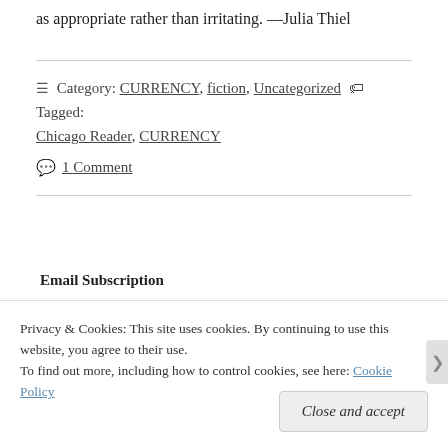as appropriate rather than irritating. —Julia Thiel
Category: CURRENCY, fiction, Uncategorized  Tagged: Chicago Reader, CURRENCY
1 Comment
Email Subscription
Privacy & Cookies: This site uses cookies. By continuing to use this website, you agree to their use.
To find out more, including how to control cookies, see here: Cookie Policy
Close and accept